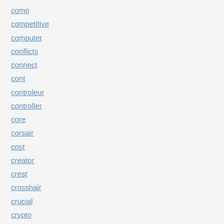como
competitive
computer
conflicts
connect
cont
controleur
controller
core
corsair
cost
creator
crest
crosshair
crucial
crypto
cs580
cs900
cuando
cunter